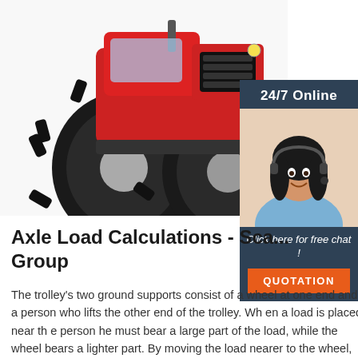[Figure (photo): Red tractor with large black agricultural tires, front view showing dual front tires and engine grille]
[Figure (photo): Sidebar advertisement showing a woman wearing a headset smiling, with '24/7 Online' header, 'Click here for free chat!' text, and an orange QUOTATION button]
Axle Load Calculations - Sca... Group
The trolley's two ground supports consist of a wheel at one end and a person who lifts the other end of the trolley. Wh en a load is placed near th e person he must bear a large part of the load, while the wheel bears a lighter part. By moving the load nearer to the wheel, the loading on the wheel increases and the